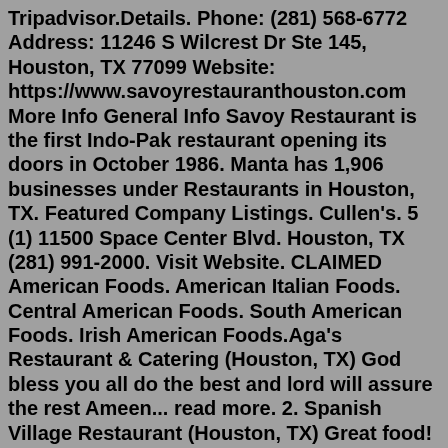Tripadvisor.Details. Phone: (281) 568-6772 Address: 11246 S Wilcrest Dr Ste 145, Houston, TX 77099 Website: https://www.savoyrestauranthouston.com More Info General Info Savoy Restaurant is the first Indo-Pak restaurant opening its doors in October 1986. Manta has 1,906 businesses under Restaurants in Houston, TX. Featured Company Listings. Cullen's. 5 (1) 11500 Space Center Blvd. Houston, TX (281) 991-2000. Visit Website. CLAIMED American Foods. American Italian Foods. Central American Foods. South American Foods. Irish American Foods.Aga's Restaurant & Catering (Houston, TX) God bless you all do the best and lord will assure the rest Ameen... read more. 2. Spanish Village Restaurant (Houston, TX) Great food! Friendly, professional staff! Clean environment! Never new such a jewel existed in my neighborhood!! 70 years in business! Wish you many m... read more. 3. Mike's ... Restaurants near Houston Museum of Natural Science at Sugar Land; Restaurants near Fort Bend Children's Discovery Center; Savoy Restaurant. 0